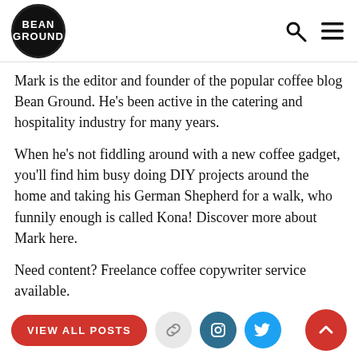Bean Ground
Mark is the editor and founder of the popular coffee blog Bean Ground. He's been active in the catering and hospitality industry for many years.
When he's not fiddling around with a new coffee gadget, you'll find him busy doing DIY projects around the home and taking his German Shepherd for a walk, who funnily enough is called Kona! Discover more about Mark here.
Need content? Freelance coffee copywriter service available.